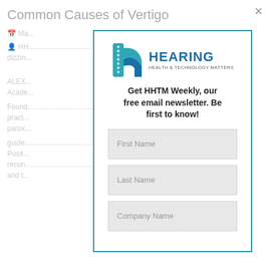Common Causes of Vertigo
Ma...
HH... American Academy... dizzin...
ALEX... Academy...
Found... al pract... parox...
guide... mal Posit... recon... sis and t...
[Figure (logo): Hearing Health & Technology Matters logo with teal/blue stylized letter h icon and bold blue HEARING text with tagline HEALTH & TECHNOLOGY MATTERS]
Get HHTM Weekly, our free email newsletter. Be first to know!
First Name
Last Name
Company Name